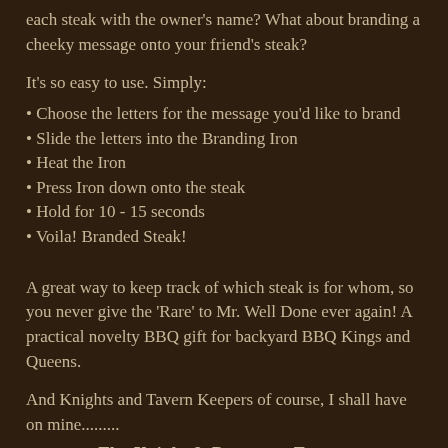each steak with the owner's name? What about branding a cheeky message onto your friend's steak?
It's so easy to use. Simply:
Choose the letters for the message you'd like to brand
Slide the letters into the Branding Iron
Heat the Iron
Press Iron down onto the steak
Hold for 10 - 15 seconds
Voila! Branded Steak!
A great way to keep track of which steak is for whom, so you never give the 'Rare' to Mr. Well Done ever again! A practical novelty BBQ gift for backyard BBQ Kings and Queens.
And Knights and Tavern Keepers of course, I shall have on mine.........
The Knight & Drummer Tavern.
A problem always arises though around BBQs. Flies. So......